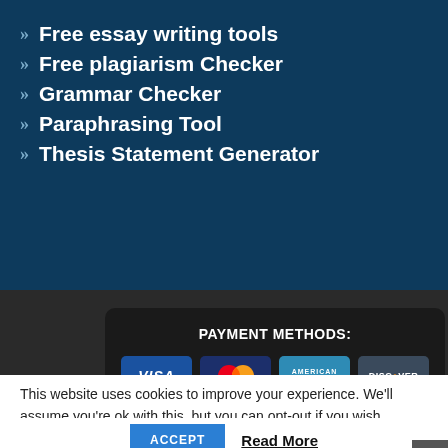Free essay writing tools
Free plagiarism Checker
Grammar Checker
Paraphrasing Tool
Thesis Statement Generator
PAYMENT METHODS:
[Figure (infographic): Payment method logos: Visa, Mastercard, American Express, Discover]
CONTACTS: +1 805 225 8795
This website uses cookies to improve your experience. We'll assume you're ok with this, but you can opt-out if you wish.
ACCEPT  Read More